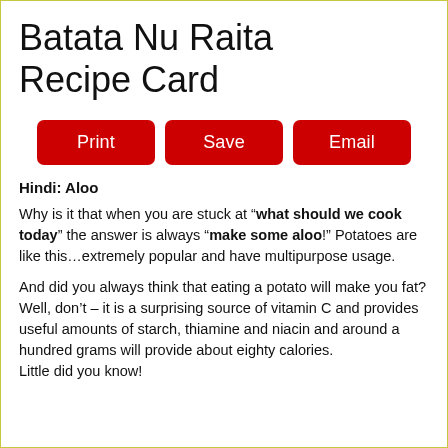Batata Nu Raita Recipe Card
[Figure (other): Three red buttons labeled Print, Save, Email]
Hindi: Aloo
Why is it that when you are stuck at “what should we cook today” the answer is always “make some aloo!” Potatoes are like this…extremely popular and have multipurpose usage.
And did you always think that eating a potato will make you fat?
Well, don’t – it is a surprising source of vitamin C and provides useful amounts of starch, thiamine and niacin and around a hundred grams will provide about eighty calories.
Little did you know!